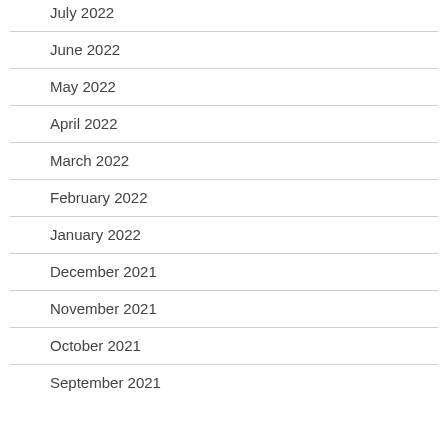July 2022
June 2022
May 2022
April 2022
March 2022
February 2022
January 2022
December 2021
November 2021
October 2021
September 2021